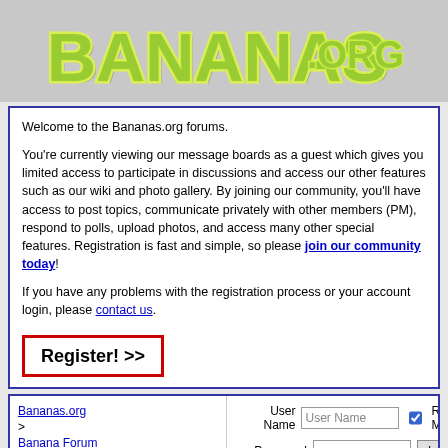[Figure (logo): Bananas.org logo in green bubbly letters with yellow outline on gray background]
Welcome to the Bananas.org forums.

You're currently viewing our message boards as a guest which gives you limited access to participate in discussions and access our other features such as our wiki and photo gallery. By joining our community, you'll have access to post topics, communicate privately with other members (PM), respond to polls, upload photos, and access many other special features. Registration is fast and simple, so please join our community today!

If you have any problems with the registration process or your account login, please contact us.

Register! >>
Bananas.org > Banana Forum > Banana Plant Soil, Additives, and Fertilizer
Buying
User Name | Password | Remember Me? | Log in | Forgot Password?